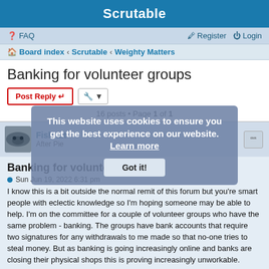Scrutable
FAQ   Register  Login
Board index · Scrutable · Weighty Matters
Banking for volunteer groups
Post Reply   [tools]
16 posts • Page 1 of 1
Fishnut
After Pie
Banking for volunteer groups
Sun Jun 19, 2022 6:31 pm
I know this is a bit outside the normal remit of this forum but you're smart people with eclectic knowledge so I'm hoping someone may be able to help. I'm on the committee for a couple of volunteer groups who have the same problem - banking. The groups have bank accounts that require two signatures for any withdrawals to me made so that no-one tries to steal money. But as banking is going increasingly online and banks are closing their physical shops this is proving increasingly unworkable.
This website uses cookies to ensure you get the best experience on our website. Learn more
Got it!